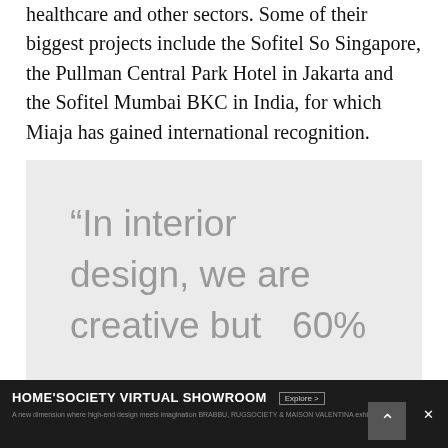healthcare and other sectors. Some of their biggest projects include the Sofitel So Singapore, the Pullman Central Park Hotel in Jakarta and the Sofitel Mumbai BKC in India, for which Miaja has gained international recognition.
[Figure (other): Light grey quote box containing a large pull quote in grey text reading: "In interior design, we are creative but 60%" (text is cut off at bottom)]
[Figure (other): Advertisement banner for HOME'SOCIETY VIRTUAL SHOWROOM at the bottom of the page, dark background with white text. Tagline: 'A new dimension where high-end design meets imagination BRABBU, RUGSOCIETY & MAISON VALENTINA exhibition']